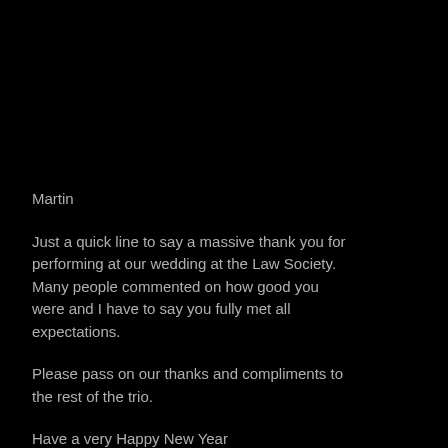Martin
Just a quick line to say a massive thank you for performing at our wedding at the Law Society. Many people commented on how good you were and I have to say you fully met all expectations.
Please pass on our thanks and compliments to the rest of the trio.
Have a very Happy New Year
Best regards